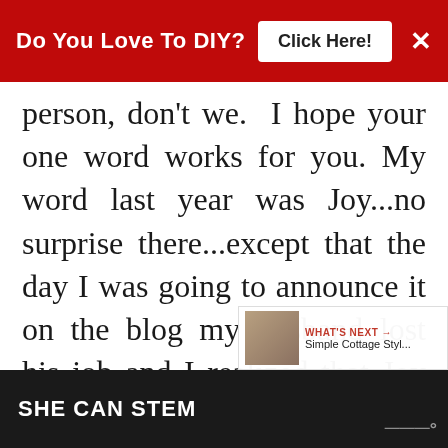Do You Love To DIY? Click Here! ×
person, don't we. I hope your one word works for you. My word last year was Joy...no surprise there...except that the day I was going to announce it on the blog my husband lost his job and I realized that Joy would come from my choosing it...regardless of circumstances. So...in some ways...having chosen that word was a very good thing. This year I'm choosing a Bible verse... But...I haven't found "the one" yet. So...I used it...but it sometime
SHE CAN STEM